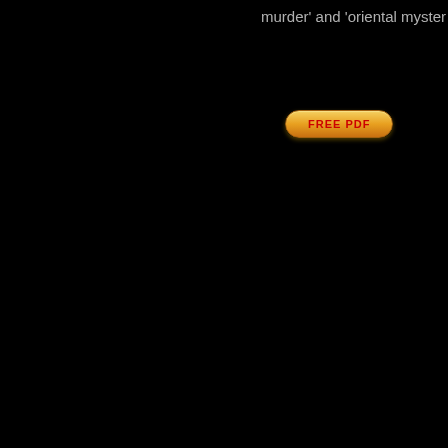murder’ and ‘oriental myster
[Figure (other): FREE PDF button - a rounded pill-shaped button with gold/orange gradient background and red bold text reading 'FREE PDF']